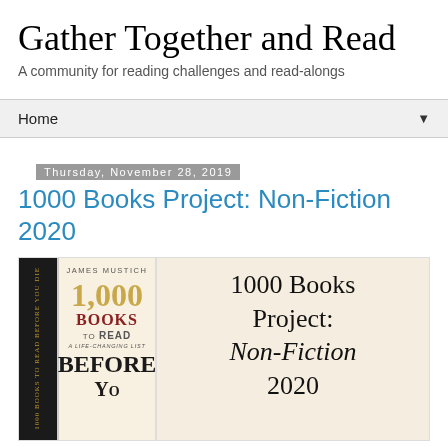Gather Together and Read
A community for reading challenges and read-alongs
Home ▼
Thursday, November 28, 2019
1000 Books Project: Non-Fiction 2020
[Figure (illustration): Book cover of '1,000 Books to Read Before You Die' by James Mustich alongside handwritten text '1000 Books Project: Non-Fiction 2020' on a beige background]